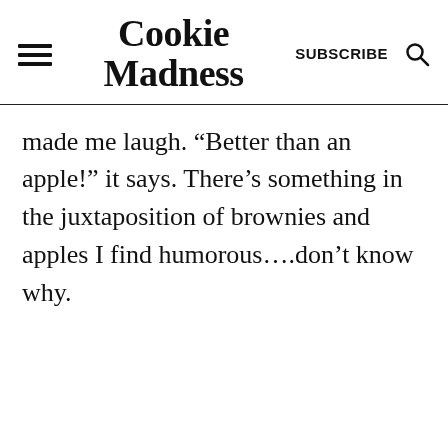Cookie Madness
made me laugh. “Better than an apple!” it says. There’s something in the juxtaposition of brownies and apples I find humorous….don’t know why.